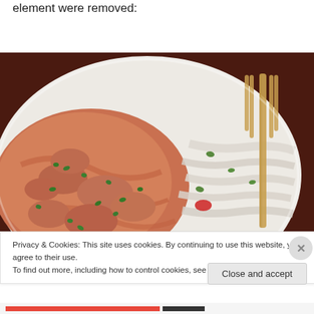element were removed:
[Figure (photo): A plate of food showing chicken or meat pieces in an orange/pink cream sauce with chopped green herbs, alongside white noodles or sliced vegetables, with a golden fork visible on the right side of the plate against a dark wooden background.]
Privacy & Cookies: This site uses cookies. By continuing to use this website, you agree to their use.
To find out more, including how to control cookies, see here: Cookie Policy
Close and accept